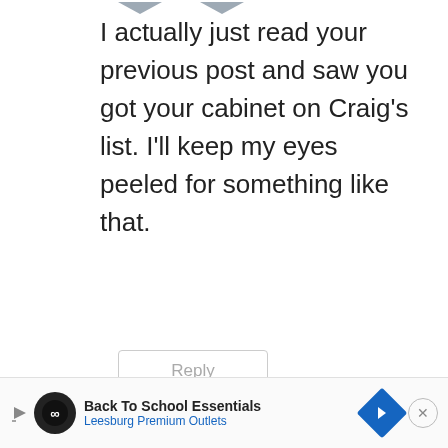I actually just read your previous post and saw you got your cabinet on Craig's list. I'll keep my eyes peeled for something like that.
[Figure (screenshot): Reply button with light gray border]
[Figure (screenshot): Heart icon (like button) in slate blue]
[Figure (screenshot): Up arrow button in light gray circle]
[Figure (logo): Tidbits & Twine circular badge logo with T letter]
Tidbits& Twine says:
95
hi... y! Yes, Craigslist can you believe? The room really isn't wide enough for
[Figure (screenshot): Dark blue heart button in circle and search/magnify button in dark circle]
Back To School Essentials Leesburg Premium Outlets